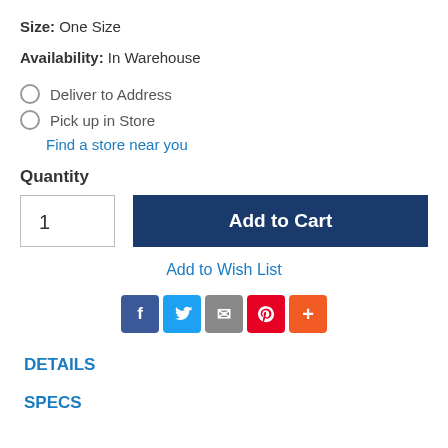Size: One Size
Availability: In Warehouse
Deliver to Address
Pick up in Store
Find a store near you
Quantity
1
Add to Cart
Add to Wish List
[Figure (infographic): Social sharing icons: Facebook (blue), Twitter (light blue), Email (gray), Pinterest (red), More/Plus (orange)]
DETAILS
SPECS